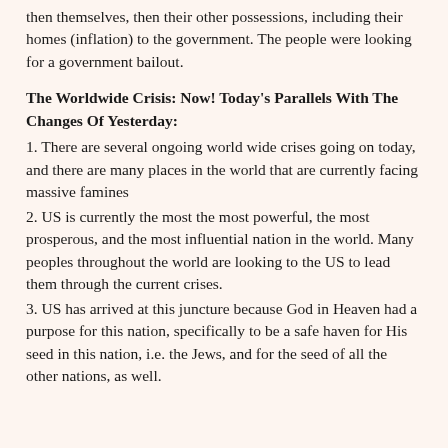then themselves, then their other possessions, including their homes (inflation) to the government. The people were looking for a government bailout.
The Worldwide Crisis: Now! Today's Parallels With The Changes Of Yesterday:
1. There are several ongoing world wide crises going on today, and there are many places in the world that are currently facing massive famines
2. US is currently the most the most powerful, the most prosperous, and the most influential nation in the world. Many peoples throughout the world are looking to the US to lead them through the current crises.
3. US has arrived at this juncture because God in Heaven had a purpose for this nation, specifically to be a safe haven for His seed in this nation, i.e. the Jews, and for the seed of all the other nations, as well.